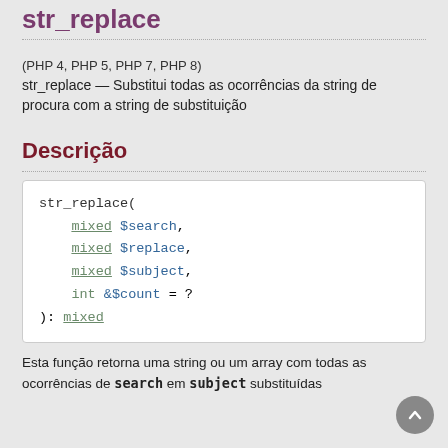str_replace
(PHP 4, PHP 5, PHP 7, PHP 8)
str_replace — Substitui todas as ocorrências da string de procura com a string de substituição
Descrição
str_replace(
    mixed $search,
    mixed $replace,
    mixed $subject,
    int &$count = ?
): mixed
Esta função retorna uma string ou um array com todas as ocorrências de search em subject substituídas